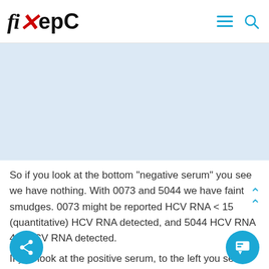fixHepC
[Figure (other): Light blue advertisement/banner placeholder area]
So if you look at the bottom "negative serum" you see we have nothing. With 0073 and 5044 we have faint smudges. 0073 might be reported HCV RNA < 15 (quantitative) HCV RNA detected, and 5044 HCV RNA 42, HCV RNA detected.
If you look at the positive serum, to the left you see